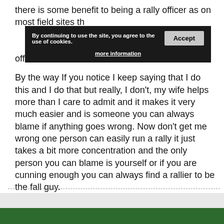there is some benefit to being a rally officer as on most field sites the [cookie banner obscures text] nothing to pay [obscured] ca [obscured] pensate for the work involved in being a rally officer.
By the way If you notice I keep saying that I do this and I do that but really, I don't, my wife helps more than I care to admit and it makes it very much easier and is someone you can always blame if anything goes wrong. Now don't get me wrong one person can easily run a rally it just takes a bit more concentration and the only person you can blame is yourself or if you are cunning enough you can always find a rallier to be the fall guy.
Steve
National Rally Organiser